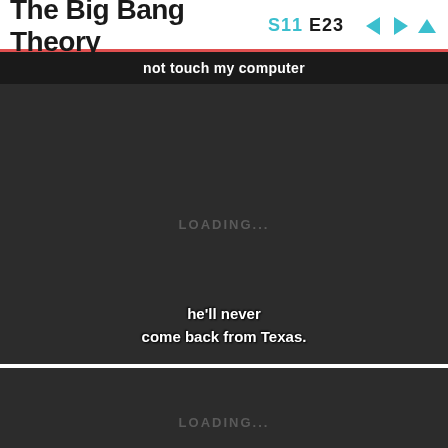The Big Bang Theory S11 E23
not touch my computer
[Figure (screenshot): Dark video player panel showing LOADING... text in center, with subtitle text 'he'll never come back from Texas.' near bottom]
[Figure (screenshot): Dark video player panel showing LOADING... text in center, partially visible at bottom of page]